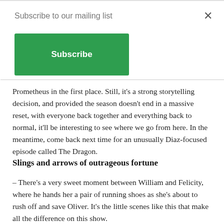Subscribe to our mailing list
Subscribe
Prometheus in the first place. Still, it's a strong storytelling decision, and provided the season doesn't end in a massive reset, with everyone back together and everything back to normal, it'll be interesting to see where we go from here. In the meantime, come back next time for an unusually Diaz-focused episode called The Dragon.
Slings and arrows of outrageous fortune
– There's a very sweet moment between William and Felicity, where he hands her a pair of running shoes as she's about to rush off and save Oliver. It's the little scenes like this that make all the difference on this show.